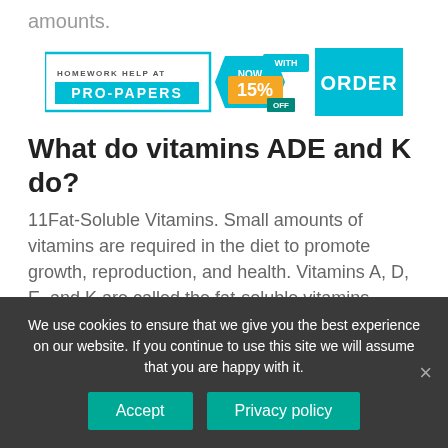amounts.
[Figure (infographic): Pro-Papers homework help ad banner with 'NOW WITH 15% OFF' discount badge and teal ORDER button]
What do vitamins ADE and K do?
11Fat-Soluble Vitamins. Small amounts of vitamins are required in the diet to promote growth, reproduction, and health. Vitamins A, D, E, and K are called the fat-soluble vitamins, because they are soluble in organic solvents and are absorbed and transported in a manner
We use cookies to ensure that we give you the best experience on our website. If you continue to use this site we will assume that you are happy with it.
Accept
Privacy policy